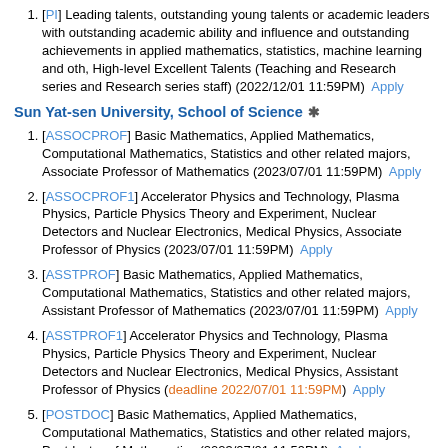[PI] Leading talents, outstanding young talents or academic leaders with outstanding academic ability and influence and outstanding achievements in applied mathematics, statistics, machine learning and oth, High-level Excellent Talents (Teaching and Research series and Research series staff) (2022/12/01 11:59PM)  Apply
Sun Yat-sen University, School of Science *
[ASSOCPROF] Basic Mathematics, Applied Mathematics, Computational Mathematics, Statistics and other related majors, Associate Professor of Mathematics (2023/07/01 11:59PM)  Apply
[ASSOCPROF1] Accelerator Physics and Technology, Plasma Physics, Particle Physics Theory and Experiment, Nuclear Detectors and Nuclear Electronics, Medical Physics, Associate Professor of Physics (2023/07/01 11:59PM)  Apply
[ASSTPROF] Basic Mathematics, Applied Mathematics, Computational Mathematics, Statistics and other related majors, Assistant Professor of Mathematics (2023/07/01 11:59PM)  Apply
[ASSTPROF1] Accelerator Physics and Technology, Plasma Physics, Particle Physics Theory and Experiment, Nuclear Detectors and Nuclear Electronics, Medical Physics, Assistant Professor of Physics (deadline 2022/07/01 11:59PM)  Apply
[POSTDOC] Basic Mathematics, Applied Mathematics, Computational Mathematics, Statistics and other related majors, Postdoctor of Mathematics (2023/07/01 11:59PM)  Apply
[PROF] Basic Mathematics, Applied Mathematics, Computational